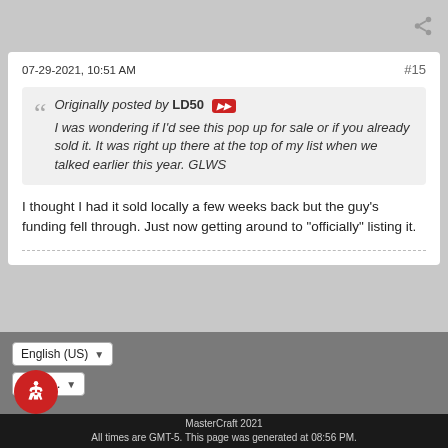07-29-2021, 10:51 AM
#15
Originally posted by LD50 ▶▶ I was wondering if I'd see this pop up for sale or if you already sold it. It was right up there at the top of my list when we talked earlier this year. GLWS
I thought I had it sold locally a few weeks back but the guy's funding fell through. Just now getting around to "officially" listing it.
1  2  Next
English (US)
Go to...
MasterCraft 2021
All times are GMT-5. This page was generated at 08:56 PM.